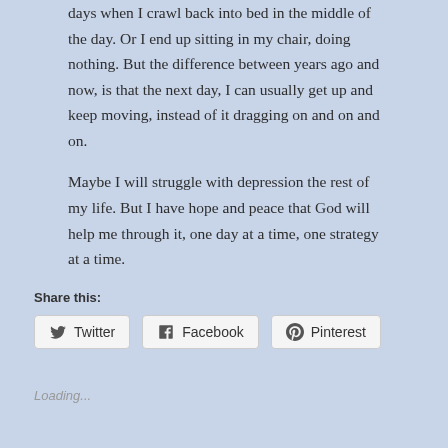days when I crawl back into bed in the middle of the day. Or I end up sitting in my chair, doing nothing. But the difference between years ago and now, is that the next day, I can usually get up and keep moving, instead of it dragging on and on and on.
Maybe I will struggle with depression the rest of my life. But I have hope and peace that God will help me through it, one day at a time, one strategy at a time.
Share this:
Loading...